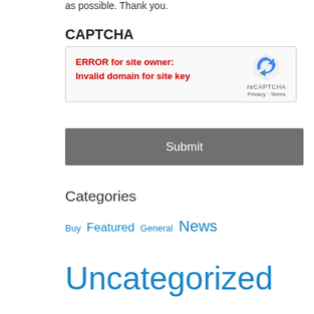as possible. Thank you.
CAPTCHA
[Figure (screenshot): reCAPTCHA widget showing error: ERROR for site owner: Invalid domain for site key, with reCAPTCHA logo, Privacy and Terms links]
Submit
Categories
Buy Featured General News Uncategorized